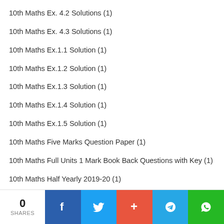10th Maths Ex. 4.2 Solutions (1)
10th Maths Ex. 4.3 Solutions (1)
10th Maths Ex.1.1 Solution (1)
10th Maths Ex.1.2 Solution (1)
10th Maths Ex.1.3 Solution (1)
10th Maths Ex.1.4 Solution (1)
10th Maths Ex.1.5 Solution (1)
10th Maths Five Marks Question Paper (1)
10th Maths Full Units 1 Mark Book Back Questions with Key (1)
10th Maths Half Yearly 2019-20 (1)
10th Maths Half Yearly Answer Keys 2019-20 (1)
0 SHARES | Facebook | Twitter | + | Telegram | WhatsApp